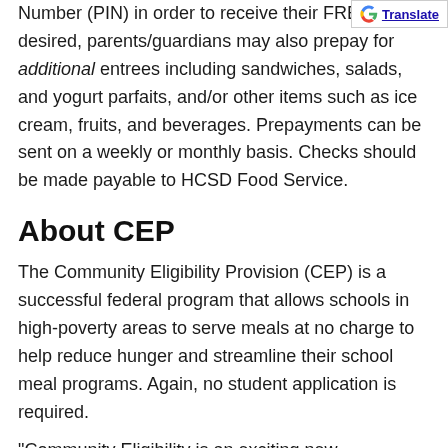Number (PIN) in order to receive their FREE desired, parents/guardians may also prepay for additional entrees including sandwiches, salads, and yogurt parfaits, and/or other items such as ice cream, fruits, and beverages. Prepayments can be sent on a weekly or monthly basis. Checks should be made payable to HCSD Food Service.
About CEP
The Community Eligibility Provision (CEP) is a successful federal program that allows schools in high-poverty areas to serve meals at no charge to help reduce hunger and streamline their school meal programs. Again, no student application is required.
“Community Eligibility is an exciting new opportunity for schools and states to create hunger-free environments for learning, and it is working. Higher participation in school meals means children can